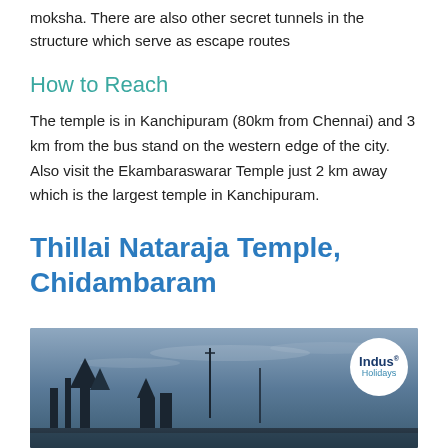moksha. There are also other secret tunnels in the structure which serve as escape routes
How to Reach
The temple is in Kanchipuram (80km from Chennai) and 3 km from the bus stand on the western edge of the city. Also visit the Ekambaraswarar Temple just 2 km away which is the largest temple in Kanchipuram.
Thillai Nataraja Temple, Chidambaram
[Figure (photo): A photo of Thillai Nataraja Temple or related scene against a cloudy sky, with Indus Holidays logo badge in top right corner]